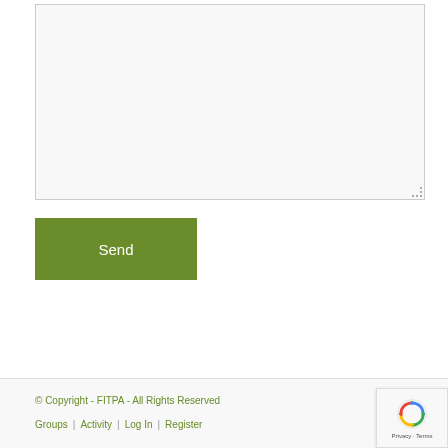[Figure (screenshot): Empty textarea input field with light gray background and dotted resize handle in bottom-right corner]
Send
© Copyright - FITPA - All Rights Reserved
Groups | Activity | Log In | Register
[Figure (illustration): reCAPTCHA badge with circular arrow logo and Privacy - Terms text]